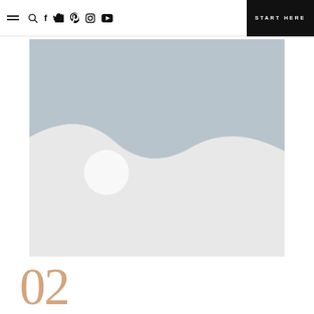Navigation bar with hamburger menu, search, social icons (Facebook, Twitter, Pinterest, Instagram, YouTube), and START HERE button
[Figure (illustration): Placeholder image with light blue-grey background. A wavy landscape silhouette divides a darker grey-blue upper region from a lighter grey lower region. A white circle (representing the moon or sun) sits in the lower-left of the darker section.]
02